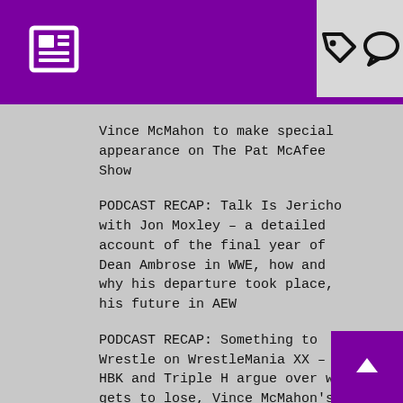Navigation header with news, tag, and chat icons
Vince McMahon to make special appearance on The Pat McAfee Show
PODCAST RECAP: Talk Is Jericho with Jon Moxley – a detailed account of the final year of Dean Ambrose in WWE, how and why his departure took place, his future in AEW
PODCAST RECAP: Something to Wrestle on WrestleMania XX – HBK and Triple H argue over who gets to lose, Vince McMahon's favorite Mania's, WWE responds to the “Wardrobe Malfunction,” Goldberg-Brock, Eddie, and the return of the Deadman
PODCAST RECAP: The Notsam Wrestling Podcast with Jake Roberts on Andre’s dislike of Studd, the psychology of turning face or heel, his one man show